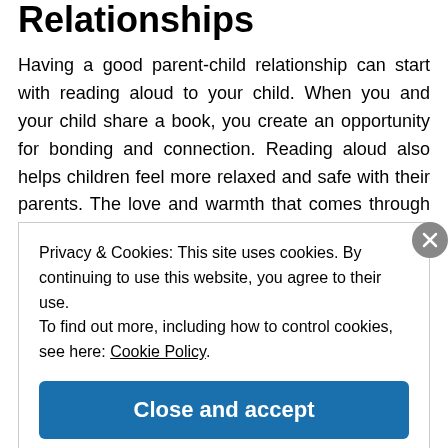Relationships
Having a good parent-child relationship can start with reading aloud to your child. When you and your child share a book, you create an opportunity for bonding and connection. Reading aloud also helps children feel more relaxed and safe with their parents. The love and warmth that comes through in a reading session encourage children to trust and open up to those they
Privacy & Cookies: This site uses cookies. By continuing to use this website, you agree to their use.
To find out more, including how to control cookies, see here: Cookie Policy
Close and accept